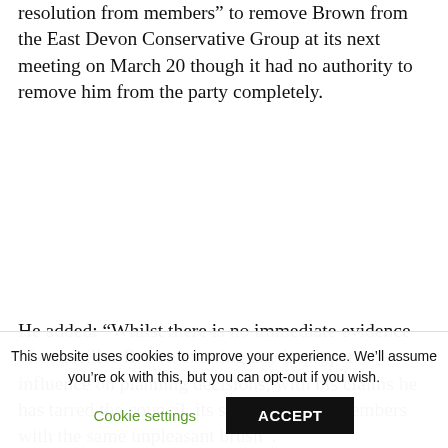resolution from members” to remove Brown from the East Devon Conservative Group at its next meeting on March 20 though it had no authority to remove him from the party completely.
He added: “Whilst there is no immediate evidence of councillor Brown exerting any improper influence on planning decisions; with his claims he has tarred the council, its staff and other members with the same unpleasant brush”.
A council spokesman said: “We are not aware of councillor Brown having any
This website uses cookies to improve your experience. We’ll assume you’re ok with this, but you can opt-out if you wish.
Cookie settings
ACCEPT